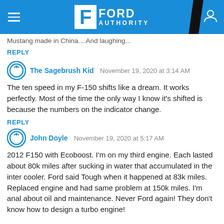Ford Authority
Mustang made in China....And laughing...
REPLY
The Sagebrush Kid  November 19, 2020 at 3:14 AM
The ten speed in my F-150 shifts like a dream. It works perfectly. Most of the time the only way I know it's shifted is because the numbers on the indicator change.
REPLY
John Doyle  November 19, 2020 at 5:17 AM
2012 F150 with Ecoboost. I'm on my third engine. Each lasted about 80k miles after sucking in water that accumulated in the inter cooler. Ford said Tough when it happened at 83k miles. Replaced engine and had same problem at 150k miles. I'm anal about oil and maintenance. Never Ford again! They don't know how to design a turbo engine!